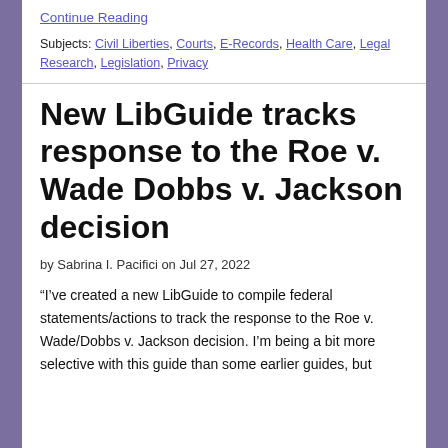Continue Reading
Subjects: Civil Liberties, Courts, E-Records, Health Care, Legal Research, Legislation, Privacy
New LibGuide tracks response to the Roe v. Wade Dobbs v. Jackson decision
by Sabrina I. Pacifici on Jul 27, 2022
“I’ve created a new LibGuide to compile federal statements/actions to track the response to the Roe v. Wade/Dobbs v. Jackson decision. I’m being a bit more selective with this guide than some earlier guides, but